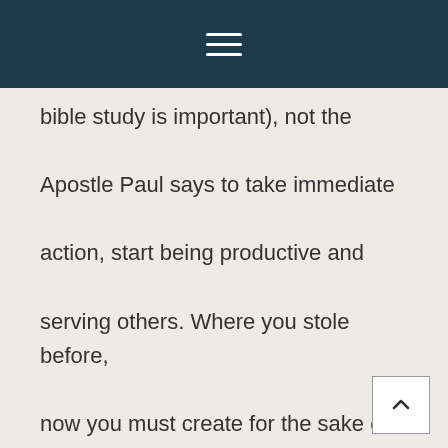≡
bible study is important), not the Apostle Paul says to take immediate action, start being productive and serving others. Where you stole before, now you must create for the sake of others.

In three of the four gospels, Jesus is recorded as saying, “just as the Son of Man did not come to be served, but to